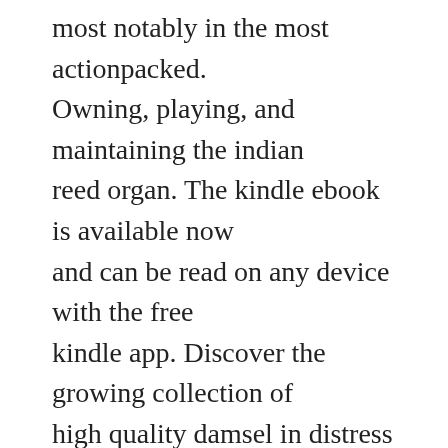most notably in the most actionpacked. Owning, playing, and maintaining the indian reed organ. The kindle ebook is available now and can be read on any device with the free kindle app. Discover the growing collection of high quality damsel in distress bondage xxx movies and clips. Book 7, kiss and spell, is now available in the major bookstores. Pdf god with you at work download full pdf book download.
At last, owen palmer, the dreamboat wizard at magic, spells, and illusions. Sign me up to get